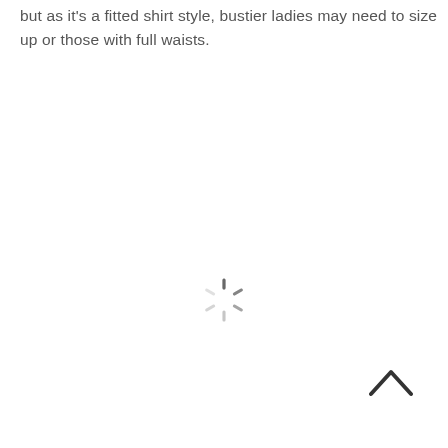but as it's a fitted shirt style, bustier ladies may need to size up or those with full waists.
[Figure (other): Animated loading spinner (circular spinner icon with radiating dashes in gray)]
[Figure (other): Upward chevron / caret arrow icon in dark gray, used for scroll-to-top navigation]